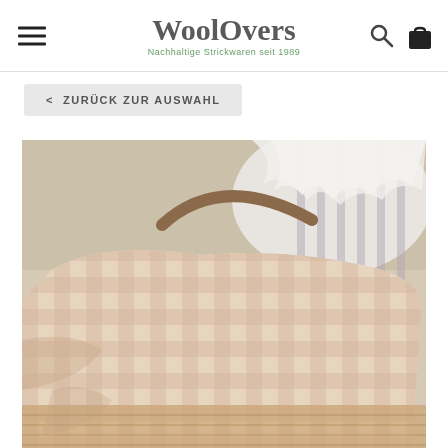WoolOvers — Nachhaltige Strickwaren seit 1989
< ZURÜCK ZUR AUSWAHL
[Figure (photo): Close-up photo of a light beige/cream gingham check knitted or woven blanket draped over a wicker bassinet or laundry basket. In the background is a white ruffled/ruched fabric item. The blanket has a classic small check pattern in soft pink/beige tones.]